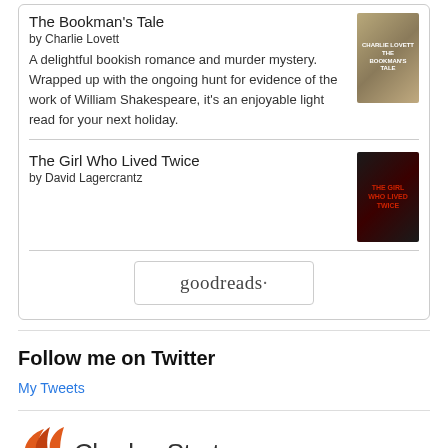The Bookman's Tale
by Charlie Lovett
A delightful bookish romance and murder mystery. Wrapped up with the ongoing hunt for evidence of the work of William Shakespeare, it's an enjoyable light read for your next holiday.
The Girl Who Lived Twice
by David Lagercrantz
[Figure (logo): Goodreads logo button]
Follow me on Twitter
My Tweets
[Figure (logo): Charles Sturt University logo with orange leaf/wing icon and text 'Charles Sturt']